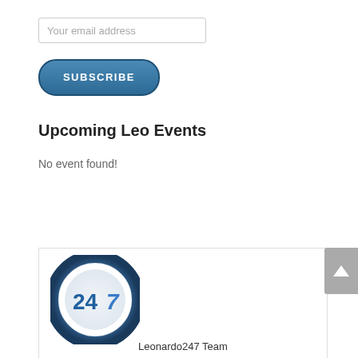Your email address
SUBSCRIBE
Upcoming Leo Events
No event found!
[Figure (logo): Leonardo247 circular logo showing '247' text inside a blue and silver gradient ring]
Leonardo247 Team